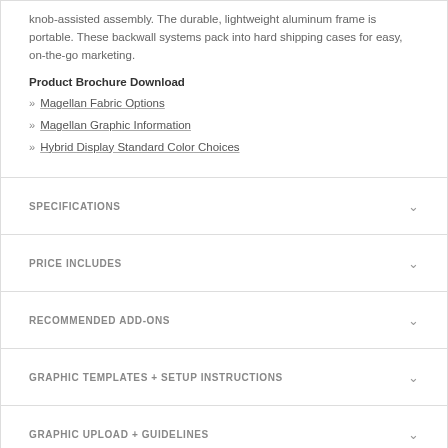knob-assisted assembly. The durable, lightweight aluminum frame is portable. These backwall systems pack into hard shipping cases for easy, on-the-go marketing.
Product Brochure Download
Magellan Fabric Options
Magellan Graphic Information
Hybrid Display Standard Color Choices
SPECIFICATIONS
PRICE INCLUDES
RECOMMENDED ADD-ONS
GRAPHIC TEMPLATES + SETUP INSTRUCTIONS
GRAPHIC UPLOAD + GUIDELINES
LEAD TIME + SHIPPING